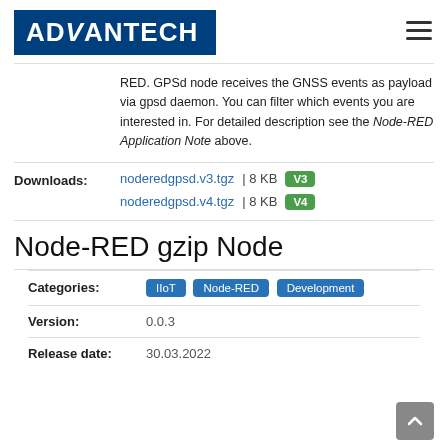ADVANTECH
RED. GPSd node receives the GNSS events as payload via gpsd daemon. You can filter which events you are interested in. For detailed description see the Node-RED Application Note above.
Downloads: noderedgpsd.v3.tgz | 8 KB V3
noderedgpsd.v4.tgz | 8 KB V4
Node-RED gzip Node
| Field | Value |
| --- | --- |
| Categories: | IIoT  Node-RED  Development |
| Version: | 0.0.3 |
| Release date: | 30.03.2022 |